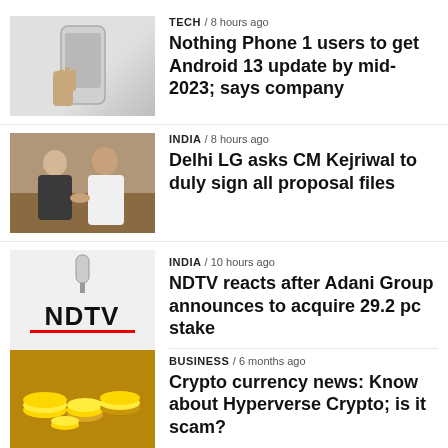[Figure (photo): Hand holding a Nothing Phone 1 smartphone]
TECH / 8 hours ago
Nothing Phone 1 users to get Android 13 update by mid-2023; says company
[Figure (photo): Two men shaking hands indoors, India government officials]
INDIA / 8 hours ago
Delhi LG asks CM Kejriwal to duly sign all proposal files
[Figure (photo): NDTV logo on white paper with microphone above; gold coins below]
INDIA / 10 hours ago
NDTV reacts after Adani Group announces to acquire 29.2 pc stake
BUSINESS / 6 months ago
Crypto currency news: Know about Hyperverse Crypto; is it scam?
[Figure (photo): Black image placeholder]
BUSINESS / 7 months ago
What is BTTC and what happened to BTT? How to swap BTTOLD? Read here
[Figure (photo): Black image placeholder]
BUSINESS / 5 months ago
Explained: Why Big Bull is trending? Know